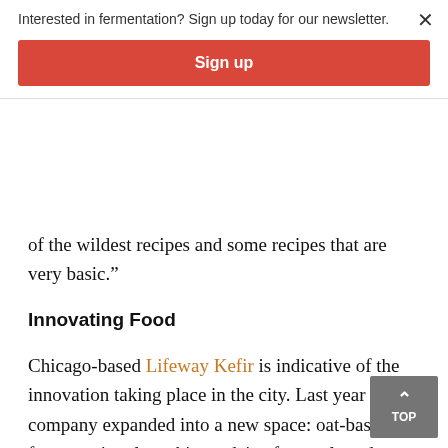Interested in fermentation? Sign up today for our newsletter.
Sign up
of the wildest recipes and some recipes that are very basic.”
Innovating Food
Chicago-based Lifeway Kefir is indicative of the innovation taking place in the city. Last year the company expanded into a new space: oat-based fermentation, launching a dairy-free, cultured oat milk with live and active probiotics.